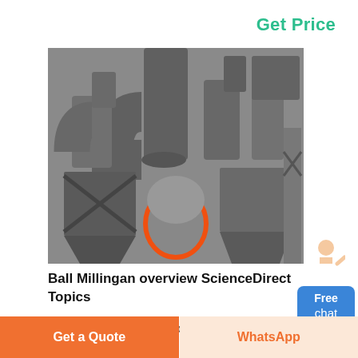Get Price
[Figure (photo): Industrial ball mill machinery with large gray pipes, ducts, and equipment in a factory setting]
[Figure (illustration): Chat widget showing a person in white coat gesturing and a blue button labeled Free chat]
Ball Millingan overview ScienceDirect Topics
Ball mills like the three roll machine are a
Get a Quote
WhatsApp